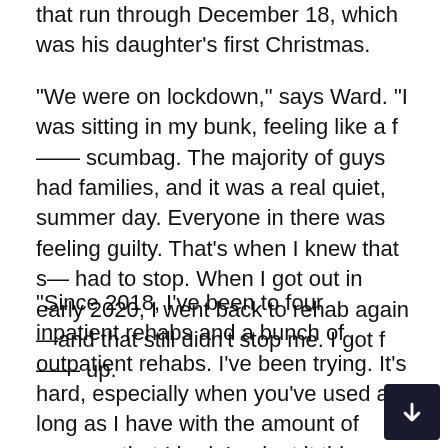that run through December 18, which was his daughter's first Christmas.
"We were on lockdown," says Ward. "I was sitting in my bunk, feeling like a f—— scumbag. The majority of guys had families, and it was a real quiet, summer day. Everyone in there was feeling guilty. That's when I knew that s— had to stop. When I got out in early 2020, I went back to rehab again—and that still didn't stop me. I got f—— up.
"Since 2018, I've been to four inpatient rehabs and a bunch of outpatient rehabs. I've been trying. It's hard, especially when you've used as long as I have with the amount of success that I had. Look at it this way—for years, I still fought. I still had money. I used with success...